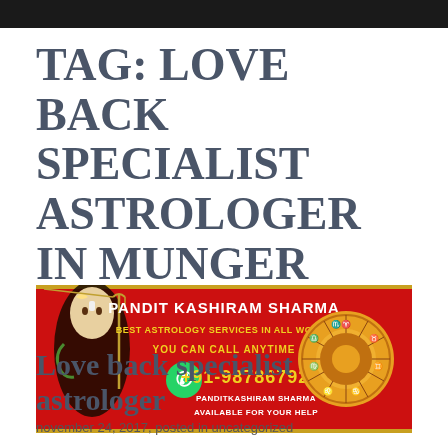TAG: LOVE BACK SPECIALIST ASTROLOGER IN MUNGER
[Figure (infographic): Red banner advertisement for Pandit Kashiram Sharma astrology services with WhatsApp number +91-9878679245, featuring an image of Lord Shiva on the left and a zodiac wheel on the right. Text reads: PANDIT KASHIRAM SHARMA, BEST ASTROLOGY SERVICES IN ALL WORLD, YOU CAN CALL ANYTIME, +91-9878679245, PANDITKASHIRAM SHARMA AVAILABLE FOR YOUR HELP]
Love back specialist astrologer
november 24, 2017, posted in uncategorized